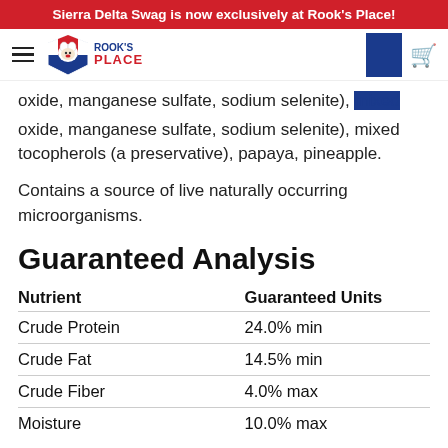Sierra Delta Swag is now exclusively at Rook's Place!
[Figure (logo): Rook's Place logo with dog mascot icon and hamburger menu]
oxide, manganese sulfate, sodium selenite), mixed tocopherols (a preservative), papaya, pineapple.
Contains a source of live naturally occurring microorganisms.
Guaranteed Analysis
| Nutrient | Guaranteed Units |
| --- | --- |
| Crude Protein | 24.0% min |
| Crude Fat | 14.5% min |
| Crude Fiber | 4.0% max |
| Moisture | 10.0% max |